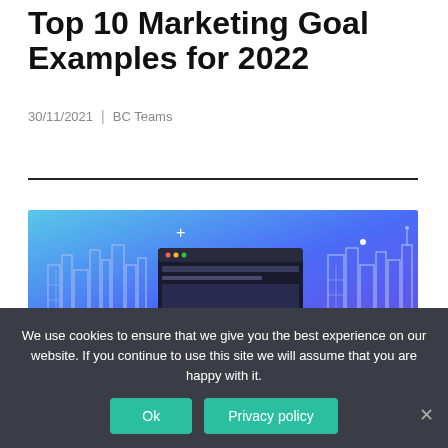Top 10 Marketing Goal Examples for 2022
30/11/2021  |  BC Teams
[Figure (illustration): Hero banner illustration showing a city skyline silhouette in blue/purple gradient with a browser window mockup in the center displaying a dark-themed website. Stars and plus signs are decorative elements.]
We use cookies to ensure that we give you the best experience on our website. If you continue to use this site we will assume that you are happy with it.